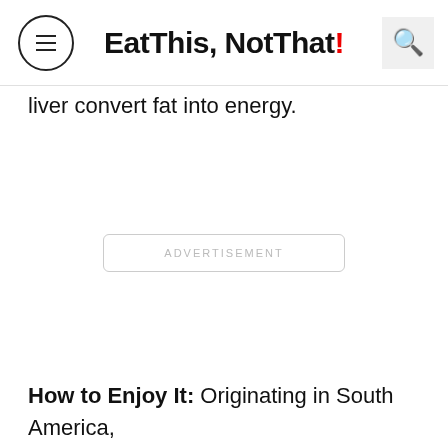Eat This, Not That!
liver convert fat into energy.
[Figure (other): Advertisement placeholder box with text 'ADVERTISEMENT']
How to Enjoy It: Originating in South America,